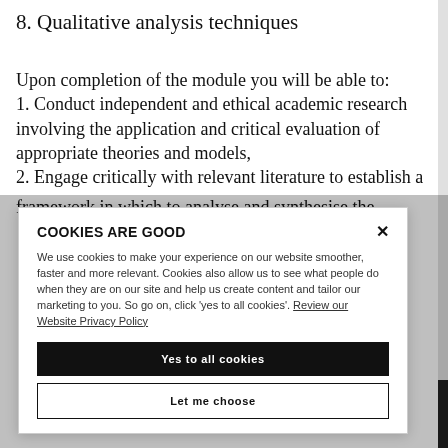8. Qualitative analysis techniques
Upon completion of the module you will be able to:
1. Conduct independent and ethical academic research involving the application and critical evaluation of appropriate theories and models,
2. Engage critically with relevant literature to establish a framework in which to analyse and synthesise the
COOKIES ARE GOOD
We use cookies to make your experience on our website smoother, faster and more relevant. Cookies also allow us to see what people do when they are on our site and help us create content and tailor our marketing to you. So go on, click 'yes to all cookies'. Review our Website Privacy Policy
Yes to all cookies
Let me choose